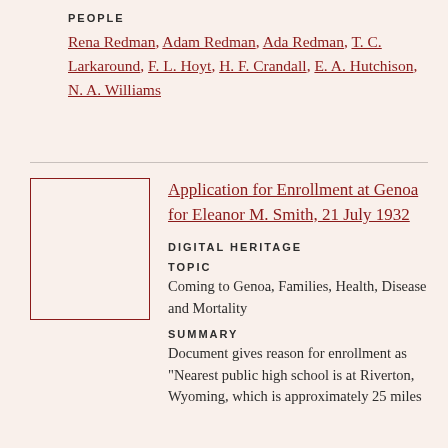PEOPLE
Rena Redman, Adam Redman, Ada Redman, T. C. Larkaround, F. L. Hoyt, H. F. Crandall, E. A. Hutchison, N. A. Williams
[Figure (other): Thumbnail placeholder image box with dark red border]
Application for Enrollment at Genoa for Eleanor M. Smith, 21 July 1932
DIGITAL HERITAGE
TOPIC
Coming to Genoa, Families, Health, Disease and Mortality
SUMMARY
Document gives reason for enrollment as "Nearest public high school is at Riverton, Wyoming, which is approximately 25 miles